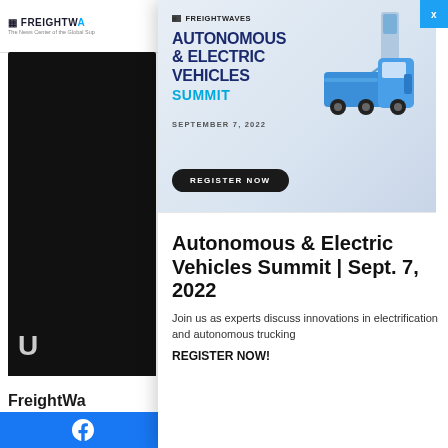FreightWaves - The News Center of the Global Supply Chain
[Figure (screenshot): FreightWaves website left panel with black content area and FreightWaves branding]
[Figure (infographic): FreightWaves Autonomous & Electric Vehicles Summit advertisement banner with EV truck illustration, date September 7, 2022, and REGISTER NOW button]
Autonomous & Electric Vehicles Summit | Sept. 7, 2022
Join us as experts discuss innovations in electrification and autonomous trucking
REGISTER NOW!
FreightWaves Facebook